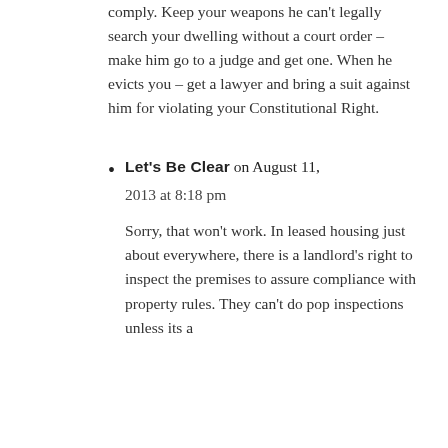comply. Keep your weapons he can't legally search your dwelling without a court order – make him go to a judge and get one. When he evicts you – get a lawyer and bring a suit against him for violating your Constitutional Right.
Let's Be Clear on August 11, 2013 at 8:18 pm

Sorry, that won't work. In leased housing just about everywhere, there is a landlord's right to inspect the premises to assure compliance with property rules. They can't do pop inspections unless its a